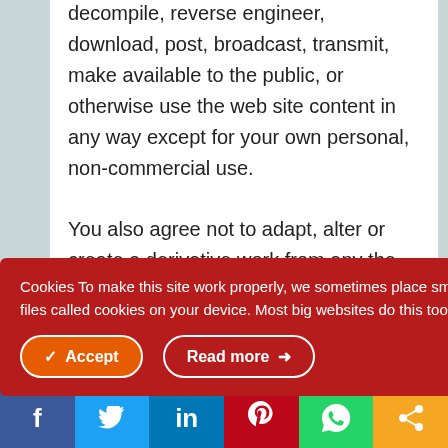decompile, reverse engineer, download, post, broadcast, transmit, make available to the public, or otherwise use the web site content in any way except for your own personal, non-commercial use.
You also agree not to adapt, alter or create a derivative work from any the web site content except for your own personal, non-commercial use. Any other use of …itten
Cookies To make this site work properly, we sometimes place small data files called cookies on your device. Most big websites do this too.
Accept | Read more